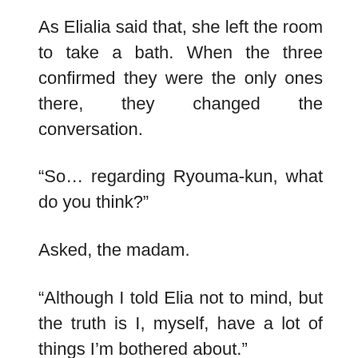As Elialia said that, she left the room to take a bath. When the three confirmed they were the only ones there, they changed the conversation.
“So… regarding Ryouma-kun, what do you think?”
Asked, the madam.
“Although I told Elia not to mind, but the truth is I, myself, have a lot of things I’m bothered about.”
“Well… he’s not a bad kid”
“I also have don’t have any objections in regards to that. But on another kind of life did he live…